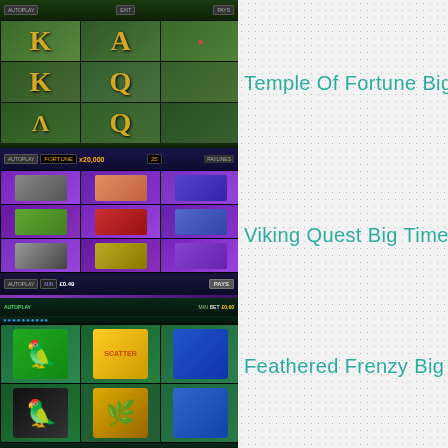[Figure (screenshot): Temple of Fortune Big Time Gaming slot game screenshot showing reels with K, A, Q, Lambda symbols on a jungle/green background with UI controls]
Temple Of Fortune Big Time Gaming
[Figure (screenshot): Viking Quest Big Time Gaming slot game screenshot showing reels with hammer, girl, jester, shield symbols on a purple background with UI controls]
Viking Quest Big Time Gaming
[Figure (screenshot): Feathered Frenzy Big Time Gaming slot game screenshot showing reels with parrot, egg, scatter, toucan symbols on a green background]
Feathered Frenzy Big Time Gaming